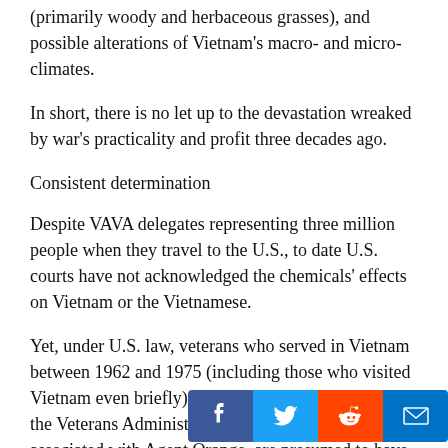(primarily woody and herbaceous grasses), and possible alterations of Vietnam's macro- and micro-climates.
In short, there is no let up to the devastation wreaked by war's practicality and profit three decades ago.
Consistent determination
Despite VAVA delegates representing three million people when they travel to the U.S., to date U.S. courts have not acknowledged the chemicals' effects on Vietnam or the Vietnamese.
Yet, under U.S. law, veterans who served in Vietnam between 1962 and 1975 (including those who visited Vietnam even briefly), and who have a disease that the Veterans Administration (VA) recognizes as being associated with Agent Orange, are presumed to have been exposed to Agent Orange and are eligible for service-connected compensation bas… service.